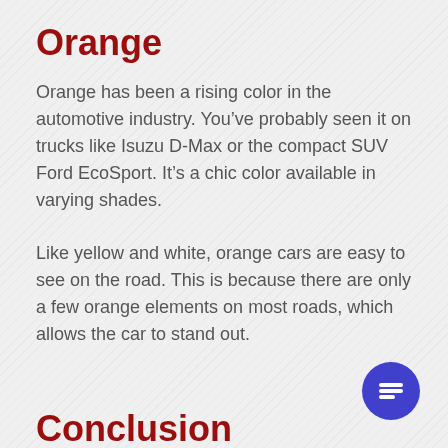Orange
Orange has been a rising color in the automotive industry. You’ve probably seen it on trucks like Isuzu D-Max or the compact SUV Ford EcoSport. It’s a chic color available in varying shades.
Like yellow and white, orange cars are easy to see on the road. This is because there are only a few orange elements on most roads, which allows the car to stand out.
Conclusion
The choice of car color will affect your safety, maintenance needs, and overall performance on the road. It’s important to be wise with your choice to make the most out of your investment. If ever